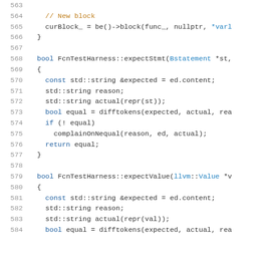563-584: C++ source code showing FcnTestHarness::expectStmt and FcnTestHarness::expectValue function implementations
[Figure (screenshot): Syntax-highlighted C++ source code, lines 563 to 584, showing curBlock_ assignment, FcnTestHarness::expectStmt and FcnTestHarness::expectValue function bodies with difftokens, complainOnNequal, and return equal statements.]